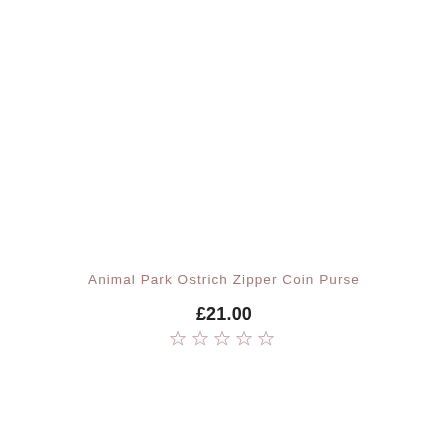Animal Park Ostrich Zipper Coin Purse
£21.00
[Figure (other): Five empty star rating icons in a row, indicating no rating]